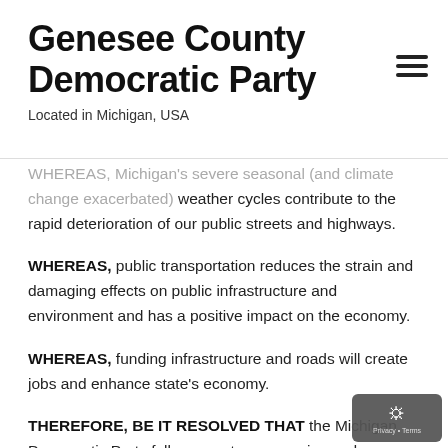Genesee County Democratic Party
Located in Michigan, USA
WHEREAS, Michigan's severe seasonal (and climate change exacerbated) weather cycles contribute to the rapid deterioration of our public streets and highways.
WHEREAS, public transportation reduces the strain and damaging effects on public infrastructure and environment and has a positive impact on the economy.
WHEREAS, funding infrastructure and roads will create jobs and enhance state's economy.
THEREFORE, BE IT RESOLVED THAT the Michigan Democratic Party fully supports progressive and